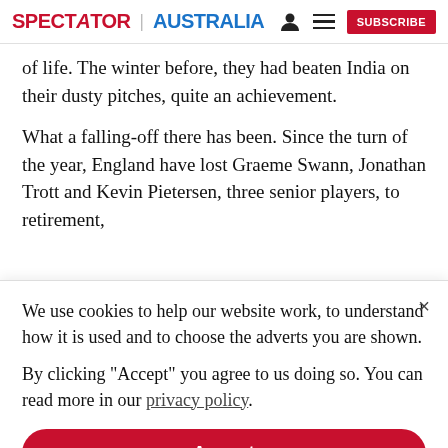SPECTATOR | AUSTRALIA
of life. The winter before, they had beaten India on their dusty pitches, quite an achievement.

What a falling-off there has been. Since the turn of the year, England have lost Graeme Swann, Jonathan Trott and Kevin Pietersen, three senior players, to retirement,
We use cookies to help our website work, to understand how it is used and to choose the adverts you are shown.

By clicking "Accept" you agree to us doing so. You can read more in our privacy policy.
Accept